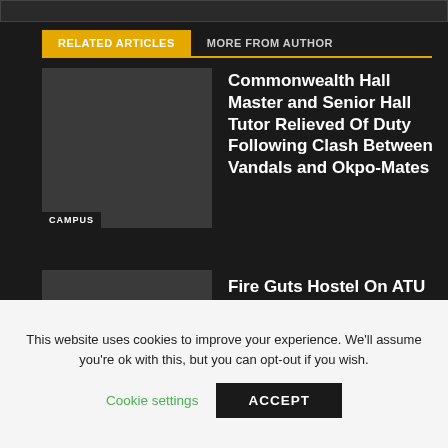RELATED ARTICLES
MORE FROM AUTHOR
Commonwealth Hall Master and Senior Hall Tutor Relieved Of Duty Following Clash Between Vandals and Okpo-Mates
Fire Guts Hostel On ATU Campus
UENR Wins World Universities Debate
This website uses cookies to improve your experience. We'll assume you're ok with this, but you can opt-out if you wish.
Cookie settings
ACCEPT